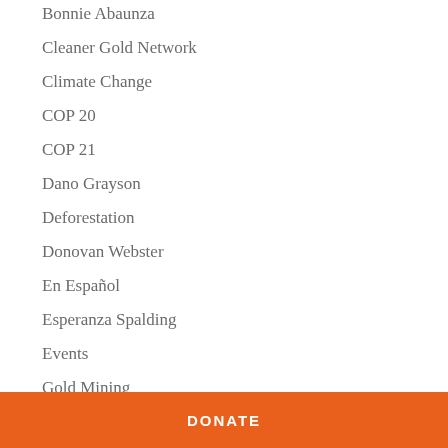Bonnie Abaunza
Cleaner Gold Network
Climate Change
COP 20
COP 21
Dano Grayson
Deforestation
Donovan Webster
En Español
Esperanza Spalding
Events
Gold Mining
DONATE